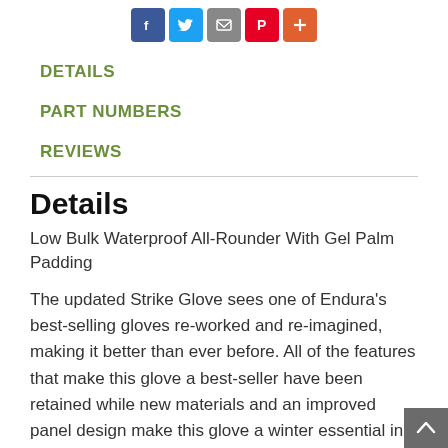[Figure (other): Social sharing icons: Facebook (blue), Twitter (light blue), Email (grey), Pinterest (red), Plus/share (orange-red)]
DETAILS
PART NUMBERS
REVIEWS
Details
Low Bulk Waterproof All-Rounder With Gel Palm Padding
The updated Strike Glove sees one of Endura's best-selling gloves re-worked and re-imagined, making it better than ever before. All of the features that make this glove a best-seller have been retained while new materials and an improved panel design make this glove a winter essential in any cyclist's wardrobe.